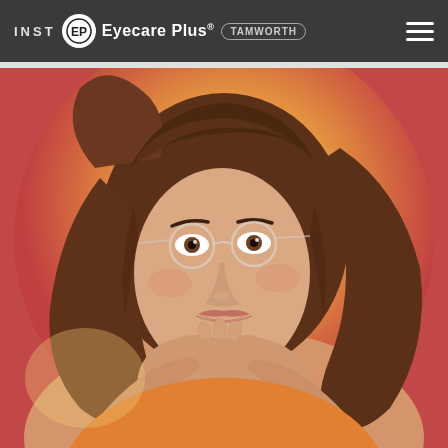INSTA Eyecare Plus TAMWORTH
[Figure (photo): Portrait photo of a woman with brown hair wearing clear/transparent round-frame eyeglasses, resting her chin on her hands, smiling softly. The background features a warm gradient circle of orange, pink, and peachy-gold tones. She wears an orange top.]